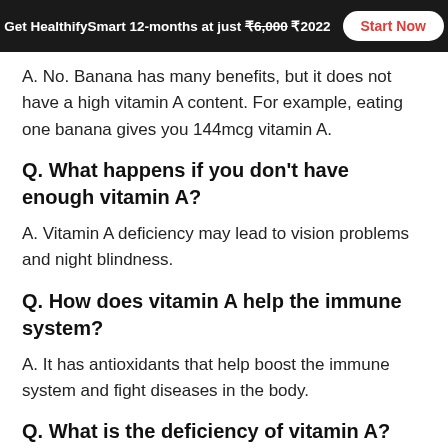Get HealthifySmart 12-months at just ₹6,000 ₹2022  Start Now
A. No. Banana has many benefits, but it does not have a high vitamin A content. For example, eating one banana gives you 144mcg vitamin A.
Q. What happens if you don't have enough vitamin A?
A. Vitamin A deficiency may lead to vision problems and night blindness.
Q. How does vitamin A help the immune system?
A. It has antioxidants that help boost the immune system and fight diseases in the body.
Q. What is the deficiency of vitamin A?